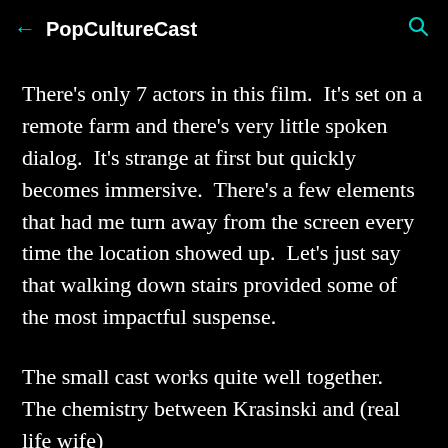← PopCultureCast 🔍
There's only 7 actors in this film.  It's set on a remote farm and there's very little spoken dialog.  It's strange at first but quickly becomes immersive.  There's a few elements that had me turn away from the screen every time the location showed up.  Let's just say that walking down stairs provided some of the most impactful suspense.
The small cast works quite well together.  The chemistry between Krasinski and (real life wife)